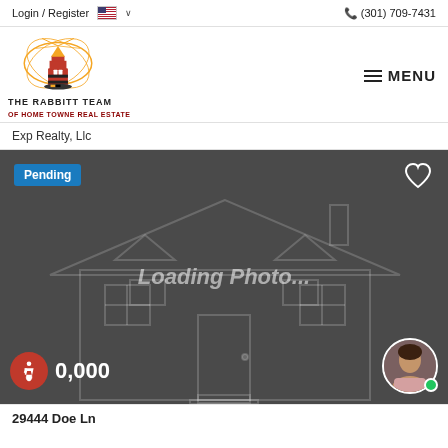Login / Register  🇺🇸 ∨    (301) 709-7431
[Figure (logo): The Rabbitt Team of Home Towne Real Estate lighthouse logo]
MENU
Exp Realty, Llc
[Figure (photo): Property listing card with 'Loading Photo...' placeholder showing a faint house outline on dark grey background, with Pending badge, heart icon, accessibility icon, price showing '0,000', and agent photo]
29444 Doe Ln